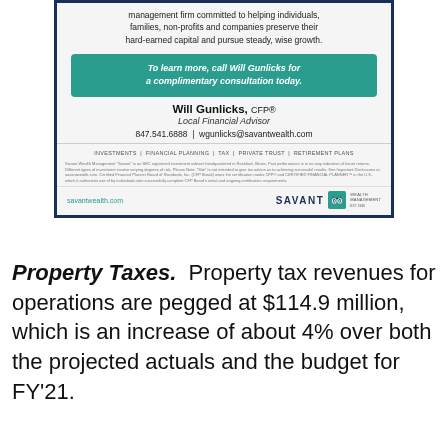[Figure (advertisement): Savant Wealth Management advertisement featuring Will Gunlicks CFP, Local Financial Advisor. Includes teal call-to-action box, contact information, services list, disclaimer, and Savant logo.]
Property Taxes.  Property tax revenues for operations are pegged at $114.9 million, which is an increase of about 4% over both the projected actuals and the budget for FY'21.